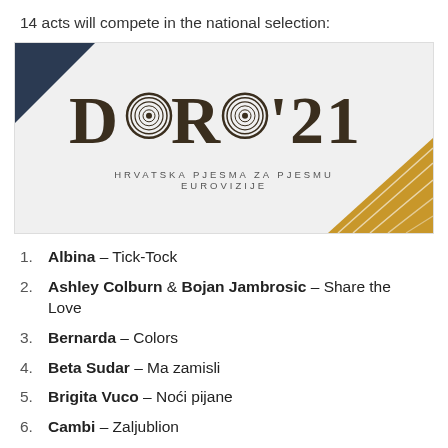14 acts will compete in the national selection:
[Figure (logo): Dora '21 logo — HRVATSKA PJESMA ZA PJESMU EUROVIZIJE — dark serif lettering on light grey background with dark navy triangle top-left corner and gold triangle bottom-right corner]
Albina – Tick-Tock
Ashley Colburn & Bojan Jambrosic – Share the Love
Bernarda – Colors
Beta Sudar – Ma zamisli
Brigita Vuco – Noći pijane
Cambi – Zaljublion